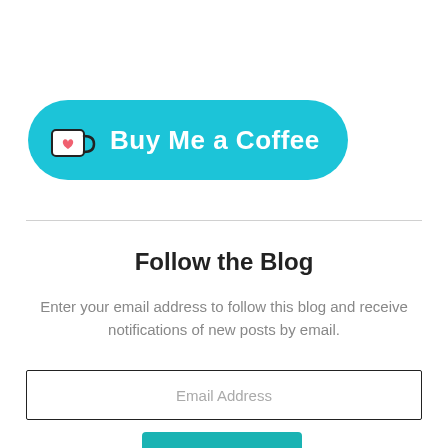[Figure (logo): Buy Me a Coffee button with teal/cyan rounded rectangle background, coffee cup icon with heart, and white bold text reading 'Buy Me a Coffee']
Follow the Blog
Enter your email address to follow this blog and receive notifications of new posts by email.
Email Address